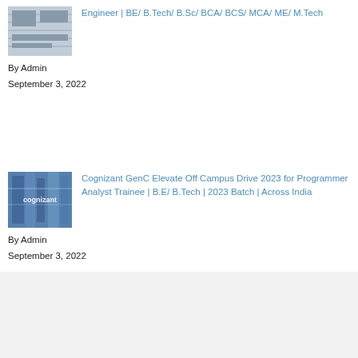Engineer | BE/ B.Tech/ B.Sc/ BCA/ BCS/ MCA/ ME/ M.Tech
By Admin
September 3, 2022
Cognizant GenC Elevate Off Campus Drive 2023 for Programmer Analyst Trainee | B.E/ B.Tech | 2023 Batch | Across India
By Admin
September 3, 2022